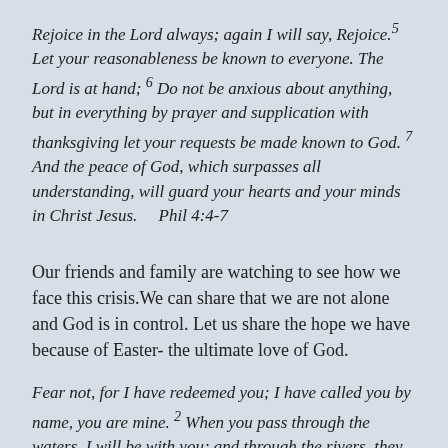Rejoice in the Lord always; again I will say, Rejoice.5 Let your reasonableness be known to everyone. The Lord is at hand; 6 Do not be anxious about anything, but in everything by prayer and supplication with thanksgiving let your requests be made known to God. 7 And the peace of God, which surpasses all understanding, will guard your hearts and your minds in Christ Jesus.    Phil 4:4-7
Our friends and family are watching to see how we face this crisis.We can share that we are not alone and God is in control. Let us share the hope we have because of Easter- the ultimate love of God.
Fear not, for I have redeemed you; I have called you by name, you are mine. 2 When you pass through the waters, I will be with you; and through the rivers, they shall not overwhelm